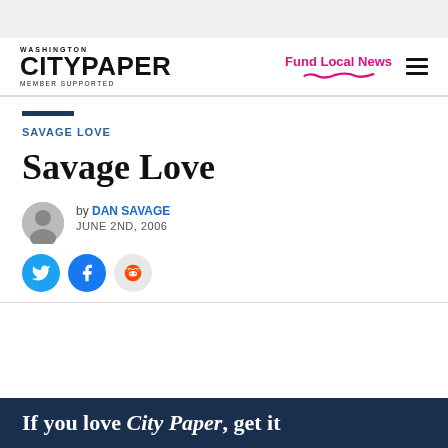[Figure (logo): Washington City Paper - Member Supported logo]
Fund Local News
SAVAGE LOVE
Savage Love
by DAN SAVAGE
JUNE 2ND, 2006
If you love City Paper, get it